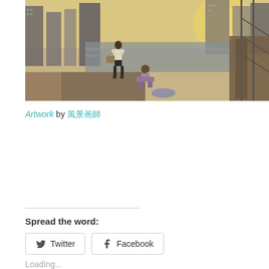[Figure (illustration): Anime-style digital artwork showing two schoolgirl figures standing on a rooftop or elevated platform overlooking a cityscape with tall buildings and a river or waterway. One figure stands upright, the other is crouching. The scene has a warm golden sunset lighting. A mermaid figure in purple is partially visible in the lower right.]
Artwork by 風景画師
Spread the word:
Twitter
Facebook
Loading...